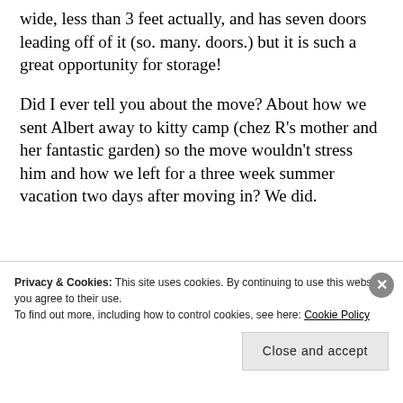wide, less than 3 feet actually, and has seven doors leading off of it (so. many. doors.) but it is such a great opportunity for storage!
Did I ever tell you about the move? About how we sent Albert away to kitty camp (chez R's mother and her fantastic garden) so the move wouldn't stress him and how we left for a three week summer vacation two days after moving in? We did.
Privacy & Cookies: This site uses cookies. By continuing to use this website, you agree to their use. To find out more, including how to control cookies, see here: Cookie Policy